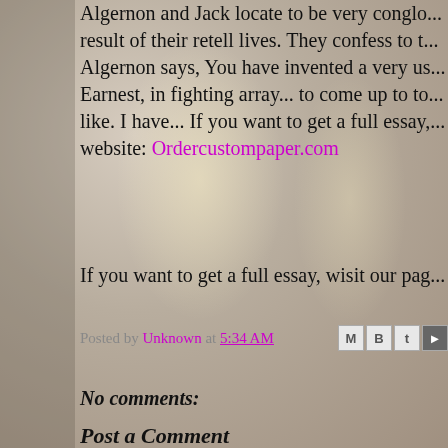Algernon and Jack locate to be very congio... result of their retell lives. They confess to t... Algernon says, You have invented a very us... Earnest, in fighting array... to come up to to... like. I have... If you want to get a full essay,... website: Ordercustompaper.com
If you want to get a full essay, wisit our pag...
Posted by Unknown at 5:34 AM
No comments:
Post a Comment